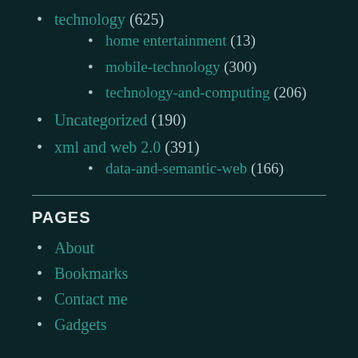technology (625)
home entertainment (13)
mobile-technology (300)
technology-and-computing (206)
Uncategorized (190)
xml and web 2.0 (391)
data-and-semantic-web (166)
PAGES
About
Bookmarks
Contact me
Gadgets